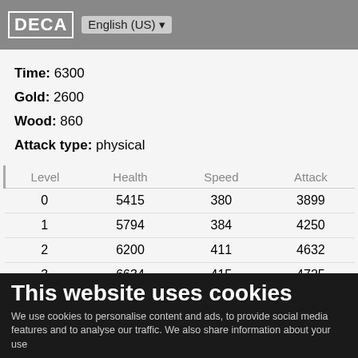DECA English (US)
Time: 6300
Gold: 2600
Wood: 860
Attack type: physical
| Level | Health | Speed | Attack |
| --- | --- | --- | --- |
| 0 | 5415 | 380 | 3899 |
| 1 | 5794 | 384 | 4250 |
| 2 | 6200 | 411 | 4632 |
| 3 | 6634 | 415 | 4725 |
| 4 | 7231 | 456 | 5198 |
| 5 | 7881 | 488 | 5665 |
This website uses cookies
We use cookies to personalise content and ads, to provide social media features and to analyse our traffic. We also share information about your use